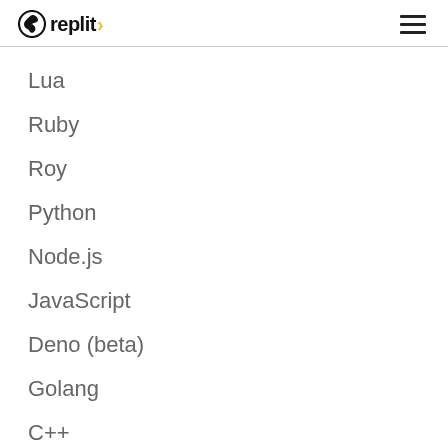replit
Lua
Ruby
Roy
Python
Node.js
JavaScript
Deno (beta)
Golang
C++